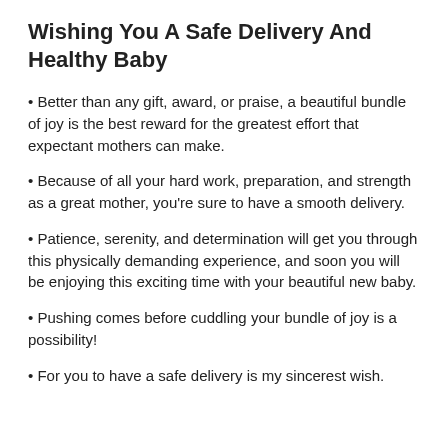Wishing You A Safe Delivery And Healthy Baby
Better than any gift, award, or praise, a beautiful bundle of joy is the best reward for the greatest effort that expectant mothers can make.
Because of all your hard work, preparation, and strength as a great mother, you're sure to have a smooth delivery.
Patience, serenity, and determination will get you through this physically demanding experience, and soon you will be enjoying this exciting time with your beautiful new baby.
Pushing comes before cuddling your bundle of joy is a possibility!
For you to have a safe delivery is my sincerest wish.